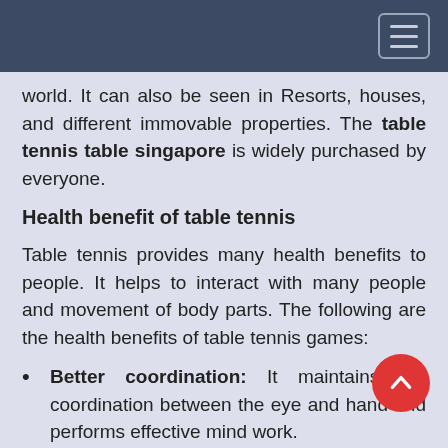[navigation bar with hamburger menu]
world. It can also be seen in Resorts, houses, and different immovable properties. The table tennis table singapore is widely purchased by everyone.
Health benefit of table tennis
Table tennis provides many health benefits to people. It helps to interact with many people and movement of body parts. The following are the health benefits of table tennis games:
Better coordination: It maintains the coordination between the eye and hand and performs effective mind work.
Flexible body: The movement of the muscles